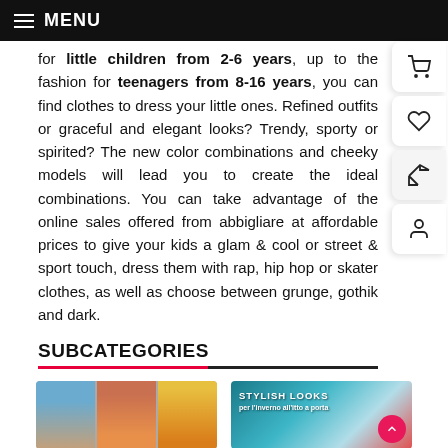MENU
for little children from 2-6 years, up to the fashion for teenagers from 8-16 years, you can find clothes to dress your little ones. Refined outfits or graceful and elegant looks? Trendy, sporty or spirited? The new color combinations and cheeky models will lead you to create the ideal combinations. You can take advantage of the online sales offered from abbigliare at affordable prices to give your kids a glam & cool or street & sport touch, dress them with rap, hip hop or skater clothes, as well as choose between grunge, gothik and dark.
SUBCATEGORIES
[Figure (photo): Three children photos side by side]
Clothing for children
[Figure (photo): Stylish looks accessories banner with text 'STYLISH LOOKS per l'inverno all'itto a porta']
Accessories for children
Sorry for the inconvenience.